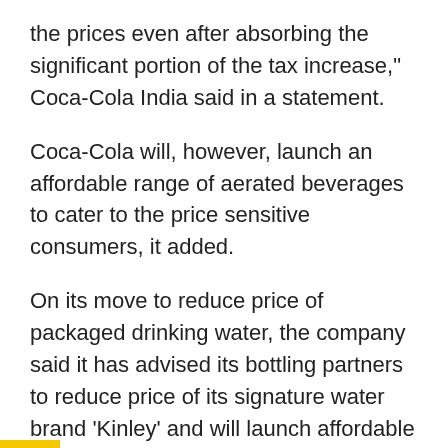the prices even after absorbing the significant portion of the tax increase," Coca-Cola India said in a statement.
Coca-Cola will, however, launch an affordable range of aerated beverages to cater to the price sensitive consumers, it added.
On its move to reduce price of packaged drinking water, the company said it has advised its bottling partners to reduce price of its signature water brand 'Kinley' and will launch affordable 'Value Water' category priced significantly lower than the current portfolio of Kinley water.